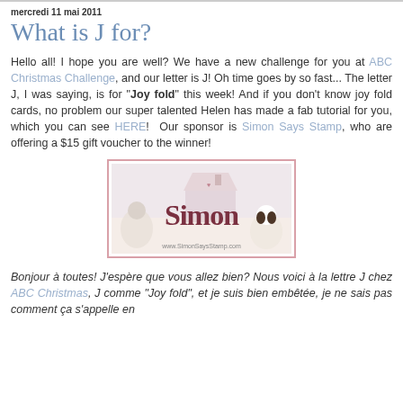mercredi 11 mai 2011
What is J for?
Hello all! I hope you are well? We have a new challenge for you at ABC Christmas Challenge, and our letter is J! Oh time goes by so fast... The letter J, I was saying, is for "Joy fold" this week! And if you don't know joy fold cards, no problem our super talented Helen has made a fab tutorial for you, which you can see HERE!  Our sponsor is Simon Says Stamp, who are offering a $15 gift voucher to the winner!
[Figure (logo): Simon Says Stamp logo/banner with illustrated characters and house, website www.SimonSaysStamp.com]
Bonjour à toutes! J'espère que vous allez bien? Nous voici à la lettre J chez ABC Christmas, J comme "Joy fold", et je suis bien embêtée, je ne sais pas comment ça s'appelle en